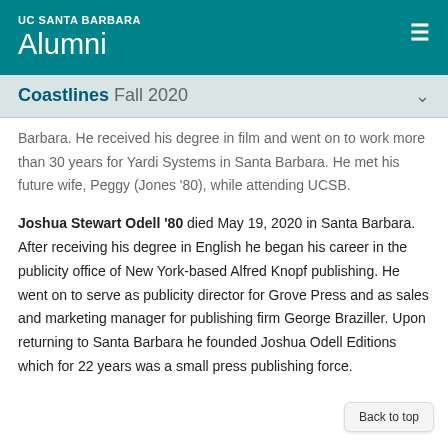UC SANTA BARBARA Alumni
Coastlines Fall 2020
Barbara. He received his degree in film and went on to work more than 30 years for Yardi Systems in Santa Barbara. He met his future wife, Peggy (Jones '80), while attending UCSB.
Joshua Stewart Odell '80 died May 19, 2020 in Santa Barbara. After receiving his degree in English he began his career in the publicity office of New York-based Alfred Knopf publishing. He went on to serve as publicity director for Grove Press and as sales and marketing manager for publishing firm George Braziller. Upon returning to Santa Barbara he founded Joshua Odell Editions which for 22 years was a small press publishing force.
Back to top